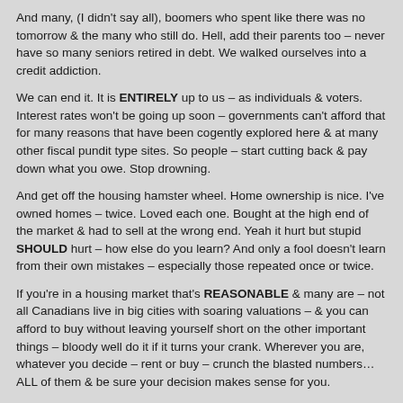And many, (I didn't say all), boomers who spent like there was no tomorrow & the many who still do. Hell, add their parents too – never have so many seniors retired in debt. We walked ourselves into a credit addiction.
We can end it. It is ENTIRELY up to us – as individuals & voters. Interest rates won't be going up soon – governments can't afford that for many reasons that have been cogently explored here & at many other fiscal pundit type sites. So people – start cutting back & pay down what you owe. Stop drowning.
And get off the housing hamster wheel. Home ownership is nice. I've owned homes – twice. Loved each one. Bought at the high end of the market & had to sell at the wrong end. Yeah it hurt but stupid SHOULD hurt – how else do you learn? And only a fool doesn't learn from their own mistakes – especially those repeated once or twice.
If you're in a housing market that's REASONABLE & many are – not all Canadians live in big cities with soaring valuations – & you can afford to buy without leaving yourself short on the other important things – bloody well do it if it turns your crank. Wherever you are, whatever you decide – rent or buy – crunch the blasted numbers… ALL of them & be sure your decision makes sense for you.